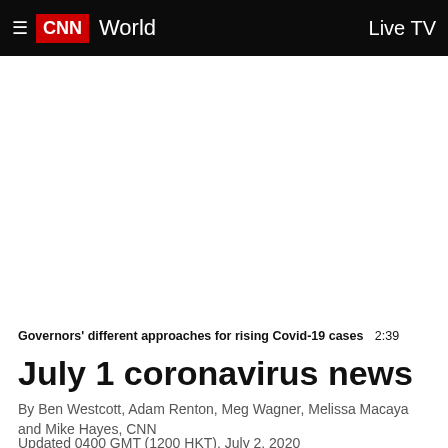CNN World  Live TV
[Figure (other): Video player area showing a blank/white screen]
Governors' different approaches for rising Covid-19 cases  2:39
July 1 coronavirus news
By Ben Westcott, Adam Renton, Meg Wagner, Melissa Macaya and Mike Hayes, CNN
Updated 0400 GMT (1200 HKT), July 2, 2020